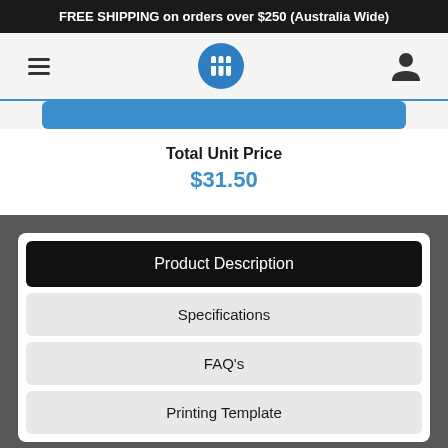FREE SHIPPING on orders over $250 (Australia Wide)
[Figure (logo): Navigation bar with hamburger menu icon, circular blue logo with white symbol, and user/person icon]
Total Unit Price
$31.50
Product Description
Specifications
FAQ's
Printing Template